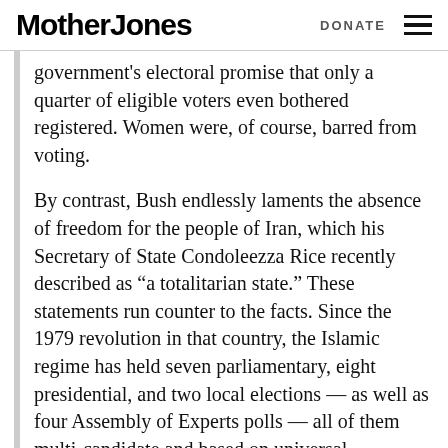Mother Jones   DONATE
government's electoral promise that only a quarter of eligible voters even bothered registered. Women were, of course, barred from voting.
By contrast, Bush endlessly laments the absence of freedom for the people of Iran, which his Secretary of State Condoleezza Rice recently described as “a totalitarian state.” These statements run counter to the facts. Since the 1979 revolution in that country, the Islamic regime has held seven parliamentary, eight presidential, and two local elections — as well as four Assembly of Experts polls — all of them multi-candidate and based on universal